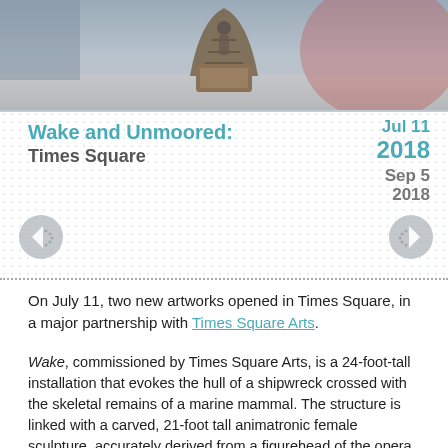[Figure (photo): Photograph showing a large sculptural installation resembling a shipwreck hull or whale skeleton, with a figure visible, against a painted mural background.]
Wake and Unmoored:
Times Square
Jul 11
2018
Sep 5
2018
On July 11, two new artworks opened in Times Square, in a major partnership with Times Square Arts.
Wake, commissioned by Times Square Arts, is a 24-foot-tall installation that evokes the hull of a shipwreck crossed with the skeletal remains of a marine mammal. The structure is linked with a carved, 21-foot tall animatronic female sculpture, accurately derived from a figurehead of the opera star, Jenny Lind, that was once mounted on the